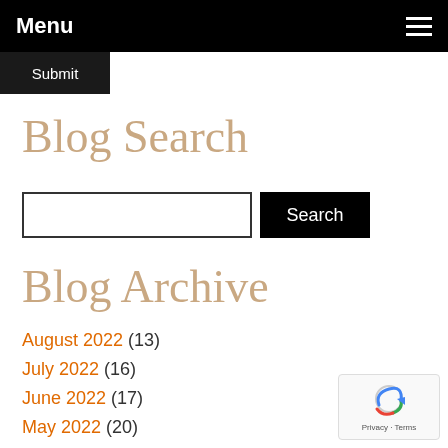Menu
Submit
Blog Search
Search
Blog Archive
August 2022 (13)
July 2022 (16)
June 2022 (17)
May 2022 (20)
April 2022 (16)